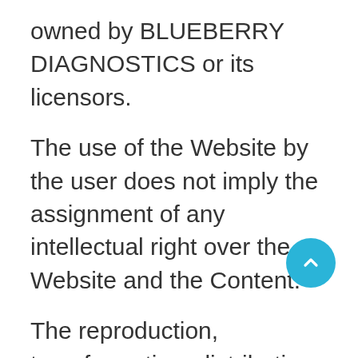owned by BLUEBERRY DIAGNOSTICS or its licensors.
The use of the Website by the user does not imply the assignment of any intellectual right over the Website and the Content.
The reproduction, transformation, distribution, public communication, disposal, removal and/or any other expressly unauthorised way of disseminating the Website, its